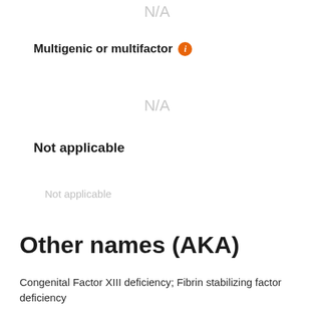N/A
Multigenic or multifactor ℹ
N/A
Not applicable
Not applicable
Other names (AKA)
Congenital Factor XIII deficiency; Fibrin stabilizing factor deficiency